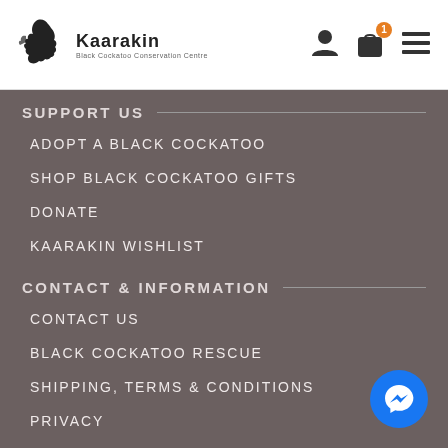Kaarakin Black Cockatoo Conservation Centre
SUPPORT US
ADOPT A BLACK COCKATOO
SHOP BLACK COCKATOO GIFTS
DONATE
KAARAKIN WISHLIST
CONTACT & INFORMATION
CONTACT US
BLACK COCKATOO RESCUE
SHIPPING, TERMS & CONDITIONS
PRIVACY
FOLLOW US